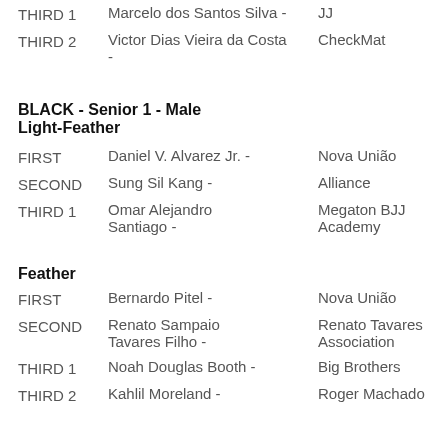THIRD 1   Marcelo dos Santos Silva -   JJ
THIRD 2   Victor Dias Vieira da Costa -   CheckMat
BLACK - Senior 1 - Male Light-Feather
FIRST   Daniel V. Alvarez Jr. -   Nova União
SECOND   Sung Sil Kang -   Alliance
THIRD 1   Omar Alejandro Santiago -   Megaton BJJ Academy
Feather
FIRST   Bernardo Pitel -   Nova União
SECOND   Renato Sampaio Tavares Filho -   Renato Tavares Association
THIRD 1   Noah Douglas Booth -   Big Brothers
THIRD 2   Kahlil Moreland -   Roger Machado